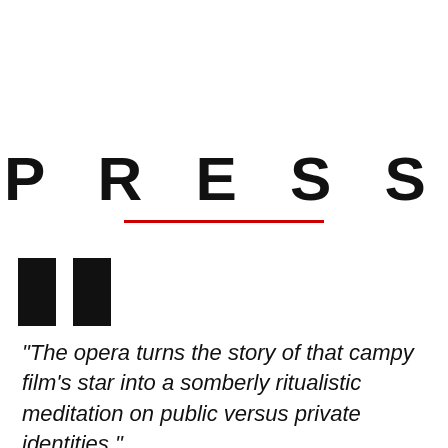PRESS
"The opera turns the story of that campy film's star into a somberly ritualistic meditation on public versus private identities."